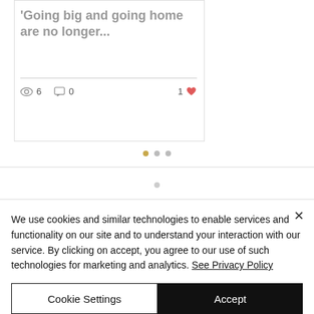'Going big and going home are no longer...
6 views  0 comments  1 like
[Figure (other): Pagination dots: one gold/active dot and two grey inactive dots]
We use cookies and similar technologies to enable services and functionality on our site and to understand your interaction with our service. By clicking on accept, you agree to our use of such technologies for marketing and analytics. See Privacy Policy
Cookie Settings | Accept